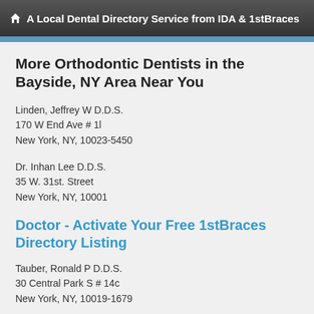A Local Dental Directory Service from IDA & 1stBraces
More Orthodontic Dentists in the Bayside, NY Area Near You
Linden, Jeffrey W D.D.S.
170 W End Ave # 1l
New York, NY, 10023-5450
Dr. Inhan Lee D.D.S.
35 W. 31st. Street
New York, NY, 10001
Doctor - Activate Your Free 1stBraces Directory Listing
Tauber, Ronald P D.D.S.
30 Central Park S # 14c
New York, NY, 10019-1679
Dr.Joseph A. Zagami